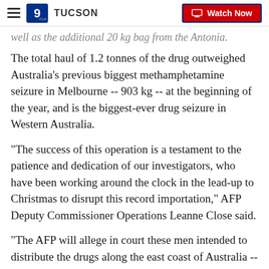9 TUCSON | Watch Now
well as the additional 20 kg bag from the Antonia.
The total haul of 1.2 tonnes of the drug outweighed Australia's previous biggest methamphetamine seizure in Melbourne -- 903 kg -- at the beginning of the year, and is the biggest-ever drug seizure in Western Australia.
"The success of this operation is a testament to the patience and dedication of our investigators, who have been working around the clock in the lead-up to Christmas to disrupt this record importation," AFP Deputy Commissioner Operations Leanne Close said.
"The AFP will allege in court these men intended to distribute the drugs along the east coast of Australia --